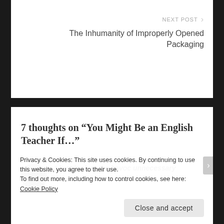NEXT POST
The Inhumanity of Improperly Opened Packaging
7 thoughts on “You Might Be an English Teacher If…”
“Just look at the havoc unnecessary
Privacy & Cookies: This site uses cookies. By continuing to use this website, you agree to their use.
To find out more, including how to control cookies, see here: Cookie Policy
Close and accept